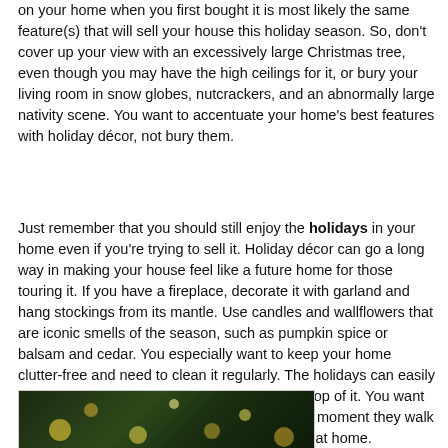on your home when you first bought it is most likely the same feature(s) that will sell your house this holiday season. So, don't cover up your view with an excessively large Christmas tree, even though you may have the high ceilings for it, or bury your living room in snow globes, nutcrackers, and an abnormally large nativity scene. You want to accentuate your home's best features with holiday décor, not bury them.
Just remember that you should still enjoy the holidays in your home even if you're trying to sell it. Holiday décor can go a long way in making your house feel like a future home for those touring it. If you have a fireplace, decorate it with garland and hang stockings from its mantle. Use candles and wallflowers that are iconic smells of the season, such as pumpkin spice or balsam and cedar. You especially want to keep your home clutter-free and need to clean it regularly. The holidays can easily bring in the clutter, so make sure you stay on top of it. You want homebuyers to feel comfortable and warm the moment they walk through your front door. You want them to feel at home.
[Figure (photo): Photo of holiday lights/bokeh with dark green background, partial view of decorated scene]